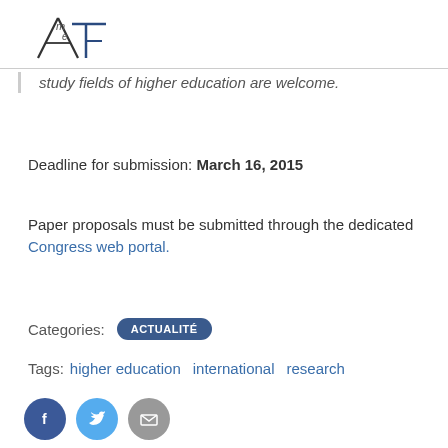[Figure (logo): AME logo with stylized letters A, m, e and horizontal line]
study fields of higher education are welcome.
Deadline for submission: March 16, 2015
Paper proposals must be submitted through the dedicated Congress web portal.
Categories:  ACTUALITÉ
Tags:  higher education   international   research
[Figure (infographic): Social share buttons: Facebook (dark blue circle with f), Twitter (light blue circle with bird), Email (grey circle with envelope)]